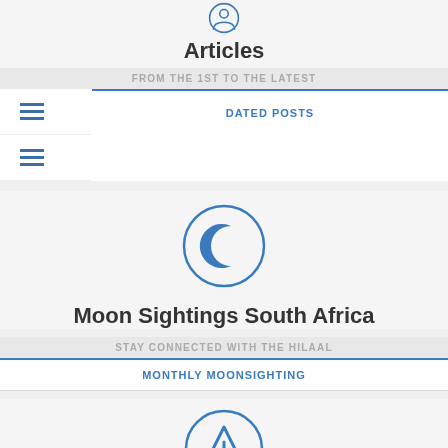[Figure (illustration): Blue circular icon with a person/smiley face, partially cropped at top]
Articles
FROM THE 1ST TO THE LATEST
[Figure (illustration): Hamburger menu icon (three horizontal lines) in blue, white background panel]
[Figure (illustration): Second hamburger menu icon (three horizontal lines) in blue, white background panel]
DATED POSTS
[Figure (illustration): Blue crescent moon icon inside a blue circle outline]
Moon Sightings South Africa
STAY CONNECTED WITH THE HILAAL
MONTHLY MOONSIGHTING
[Figure (illustration): Blue warning/alert triangle with exclamation mark inside a blue circle outline]